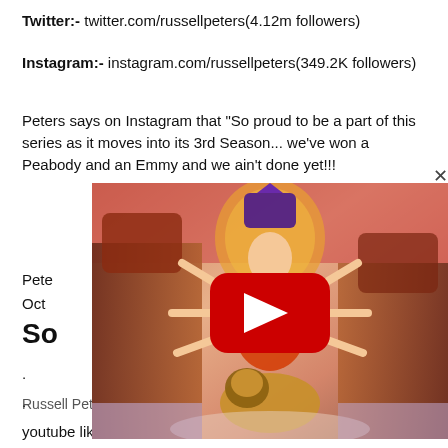Twitter:- twitter.com/russellpeters(4.12m followers)
Instagram:- instagram.com/russellpeters(349.2K followers)
Peters says on Instagram that "So proud to be a part of this series as it moves into its 3rd Season... we've won a Peabody and an Emmy and we ain't done yet!!!
Pete
Oct
So
[Figure (screenshot): YouTube video thumbnail showing Hindu goddess Durga with multiple arms, riding a lion, with red temple architecture background. A large red YouTube play button is centered on the image.]
Russell Peters special shows are available o...
youtube like Indian accent, and red white and brown.